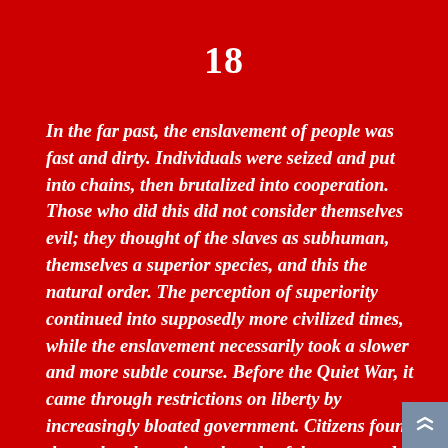18
In the far past, the enslavement of people was fast and dirty. Individuals were seized and put into chains, then brutalized into cooperation. Those who did this did not consider themselves evil; they thought of the slaves as subhuman, themselves a superior species, and this the natural order. The perception of superiority continued into supposedly more civilized times, while the enslavement necessarily took a slower and more subtle course. Before the Quiet War, it came through restrictions on liberty by increasingly bloated government. Citizens found themselves becoming chattels of the state, and its corporate partners. An ever-increasing number of rules and regulations, produced by